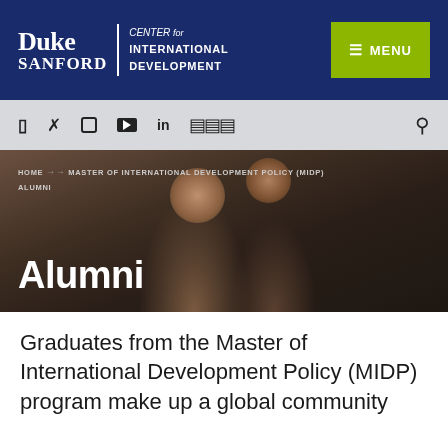Duke Sanford | CENTER for INTERNATIONAL DEVELOPMENT — MENU
[Figure (screenshot): Social media icon bar with Facebook, Twitter, Instagram, YouTube, LinkedIn, SoundCloud icons and a search icon on a light grey background]
[Figure (photo): Hero image showing people, dark toned photograph with breadcrumb navigation and Alumni title overlay]
Graduates from the Master of International Development Policy (MIDP) program make up a global community